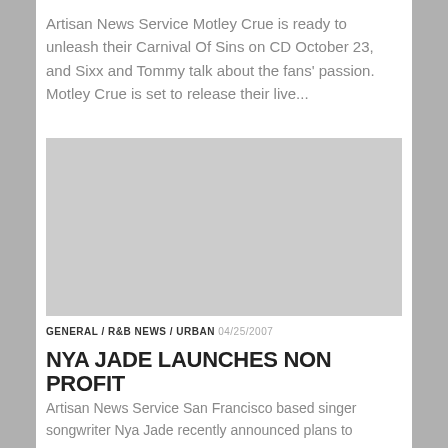Artisan News Service Motley Crue is ready to unleash their Carnival Of Sins on CD October 23, and Sixx and Tommy talk about the fans' passion. Motley Crue is set to release their live...
[Figure (photo): Gray placeholder image for article]
GENERAL / R&B NEWS / URBAN 04/25/2007
NYA JADE LAUNCHES NON PROFIT
Artisan News Service San Francisco based singer songwriter Nya Jade recently announced plans to